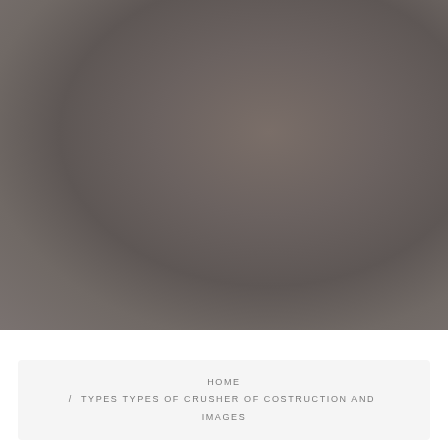[Figure (photo): Blurred dark brownish-grey background photograph, likely showing construction or crusher-related industrial equipment, heavily blurred so details are indistinct.]
HOME / TYPES TYPES OF CRUSHER OF COSTRUCTION AND IMAGES